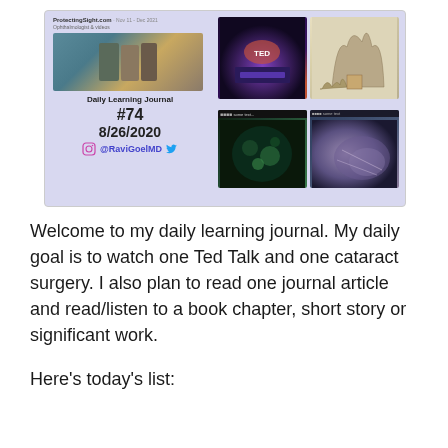[Figure (screenshot): A collage image showing the Daily Learning Journal #74, dated 8/26/2020, with @RaviGoelMD social handles. The collage includes photos of surgeons, a TED talk stage, a nature sketch, microscopy images, and surgical videos.]
Welcome to my daily learning journal. My daily goal is to watch one Ted Talk and one cataract surgery. I also plan to read one journal article and read/listen to a book chapter, short story or significant work.
Here's today's list: